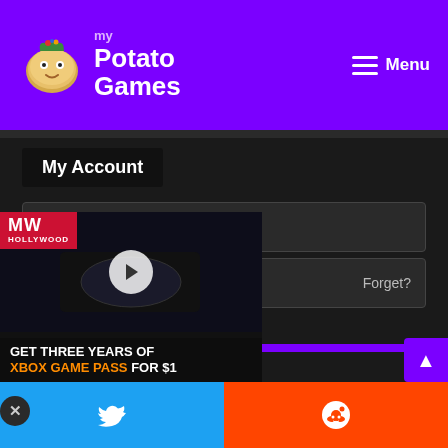[Figure (logo): myPotatoGames website header with purple background, potato mascot logo, and hamburger menu]
My Account
Username
Password | Forget?
Remember me
Log In
rved | myPotatoGames - Priva
[Figure (screenshot): MW Hollywood advertisement for Xbox Game Pass - GET THREE YEARS OF XBOX GAME PASS FOR $1]
[Figure (other): Twitter and Reddit social share buttons at bottom]